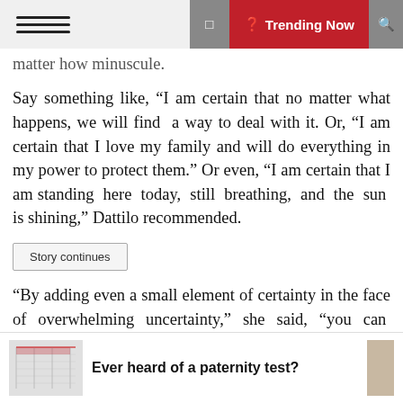≡  ⊞  ❙ Trending Now  🔍
matter how minuscule.
Say something like, “I am certain that no matter what happens, we will find a way to deal with it. Or, “I am certain that I love my family and will do everything in my power to protect them.” Or even, “I am certain that I am standing here today, still breathing, and the sun is shining,” Dattilo recommended.
Story continues
“By adding even a small element of certainty in the face of overwhelming uncertainty,” she said, “you can re-establish a connection with the present moment, ground yourself, and maintain a good sense of self-control and confidence.”
Ever heard of a paternity test?